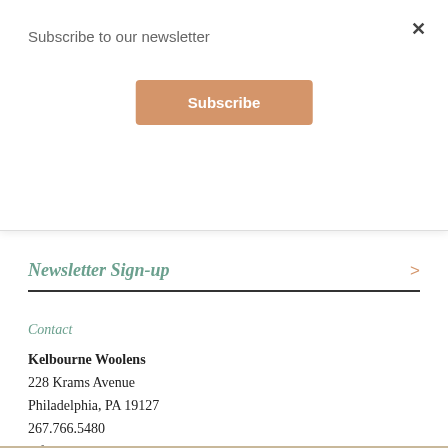Subscribe to our newsletter
Subscribe
Newsletter Sign-up
Contact
Kelbourne Woolens
228 Krams Avenue
Philadelphia, PA 19127
267.766.5480
info@kelbournewoolens.com